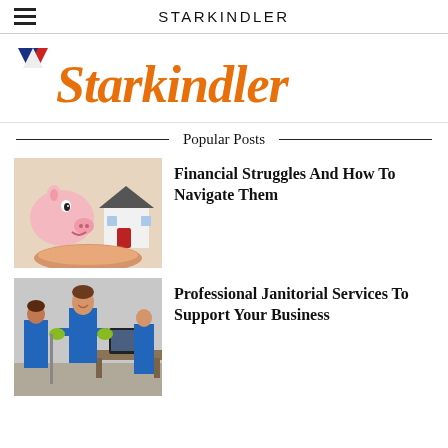STARKINDLER
[Figure (logo): Starkindler logo with orange script text and a red/blue/white chevron icon]
Popular Posts
[Figure (photo): Piggy bank and a small red house model held in hands]
Financial Struggles And How To Navigate Them
[Figure (photo): Three cleaning staff in blue uniforms with green gloves in an office setting]
Professional Janitorial Services To Support Your Business